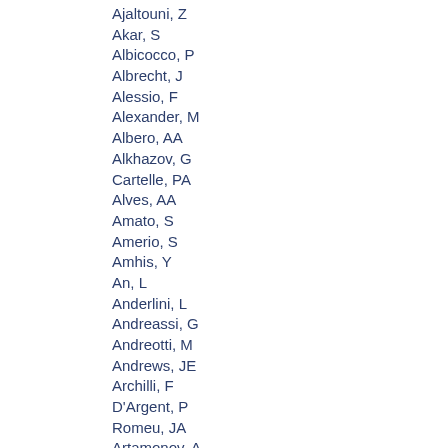Ajaltouni, Z
Akar, S
Albicocco, P
Albrecht, J
Alessio, F
Alexander, M
Albero, AA
Alkhazov, G
Cartelle, PA
Alves, AA
Amato, S
Amerio, S
Amhis, Y
An, L
Anderlini, L
Andreassi, G
Andreotti, M
Andrews, JE
Archilli, F
D'Argent, P
Romeu, JA
Artamonov, A
Artuso, M
Arzymatov, K
Aslanides, E
Atzeni, M
Audurier, B